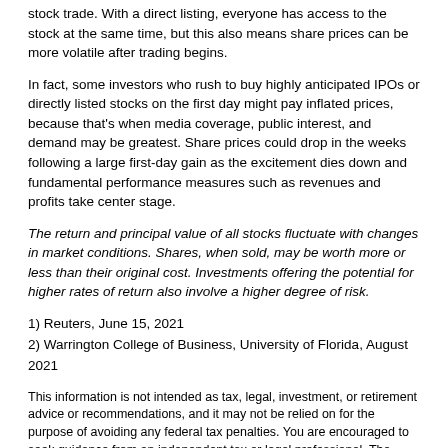stock trade. With a direct listing, everyone has access to the stock at the same time, but this also means share prices can be more volatile after trading begins.
In fact, some investors who rush to buy highly anticipated IPOs or directly listed stocks on the first day might pay inflated prices, because that's when media coverage, public interest, and demand may be greatest. Share prices could drop in the weeks following a large first-day gain as the excitement dies down and fundamental performance measures such as revenues and profits take center stage.
The return and principal value of all stocks fluctuate with changes in market conditions. Shares, when sold, may be worth more or less than their original cost. Investments offering the potential for higher rates of return also involve a higher degree of risk.
1) Reuters, June 15, 2021
2) Warrington College of Business, University of Florida, August 2021
This information is not intended as tax, legal, investment, or retirement advice or recommendations, and it may not be relied on for the purpose of avoiding any federal tax penalties. You are encouraged to seek guidance from an independent tax or legal professional. The content is derived from sources believed to be accurate. Neither the information presented nor any opinion expressed constitutes a solicitation for the purchase or sale of any security. This material was written and prepared by Broadridge Advisor Solutions. © 2022 Broadridge Financial Solutions, Inc.